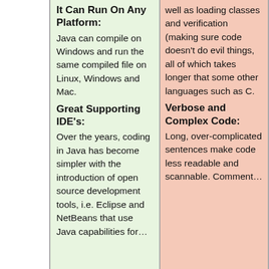It Can Run On Any Platform:
Java can compile on Windows and run the same compiled file on Linux, Windows and Mac.
Great Supporting IDE's:
Over the years, coding in Java has become simpler with the introduction of open source development tools, i.e. Eclipse and NetBeans that use Java capabilities for…
well as loading classes and verification (making sure code doesn't do evil things, all of which takes longer that some other languages such as C.
Verbose and Complex Code:
Long, over-complicated sentences make code less readable and scannable. Comment…